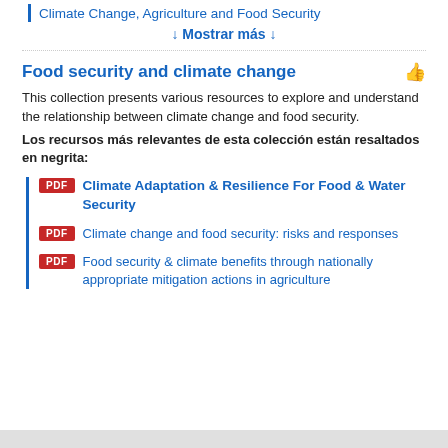Climate Change, Agriculture and Food Security
↓ Mostrar más ↓
Food security and climate change
This collection presents various resources to explore and understand the relationship between climate change and food security.
Los recursos más relevantes de esta colección están resaltados en negrita:
PDF  Climate Adaptation & Resilience For Food & Water Security
PDF  Climate change and food security: risks and responses
PDF  Food security & climate benefits through nationally appropriate mitigation actions in agriculture